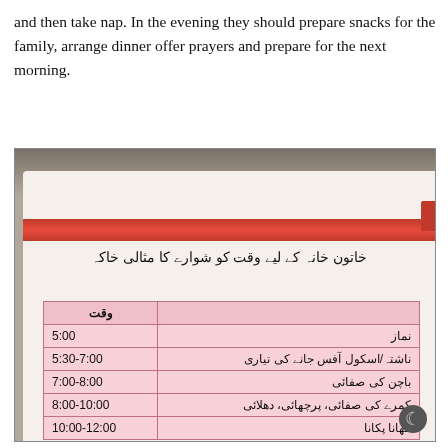and then take nap. In the evening they should prepare snacks for the family, arrange dinner offer prayers and prepare for the next morning.
[Figure (photo): A photograph of an open Urdu textbook showing a schedule table for housewives (خاتون خانہ). The table has a pink background with two columns: activities in Urdu script and times in the left column, time ranges in the right column. Times listed include 5:00, 5:30-7:00, 7:00-8:00, 8:00-10:00, 10:00-12:00. The book has a red banner at the top.]